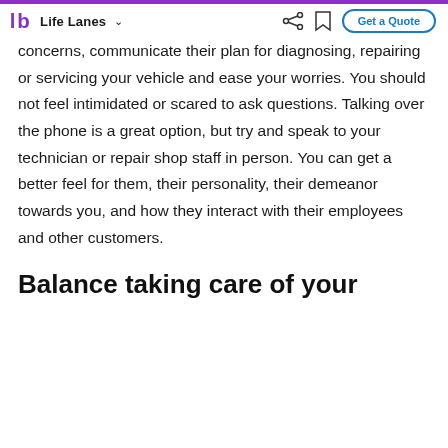Life Lanes ∨   [share icon] [bookmark icon]   Get a Quote
The staff and/or technicians should listen to your concerns, communicate their plan for diagnosing, repairing or servicing your vehicle and ease your worries. You should not feel intimidated or scared to ask questions. Talking over the phone is a great option, but try and speak to your technician or repair shop staff in person. You can get a better feel for them, their personality, their demeanor towards you, and how they interact with their employees and other customers.
Balance taking care of your